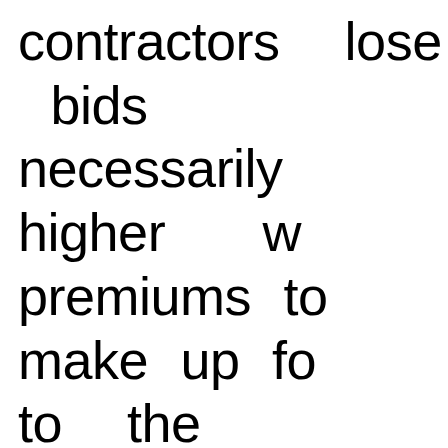contractors lose bids necessarily higher w premiums to make up fo to the system, while th miss out on opportunitie legitimate income and su families.
Meanwhile, consume participate in the u